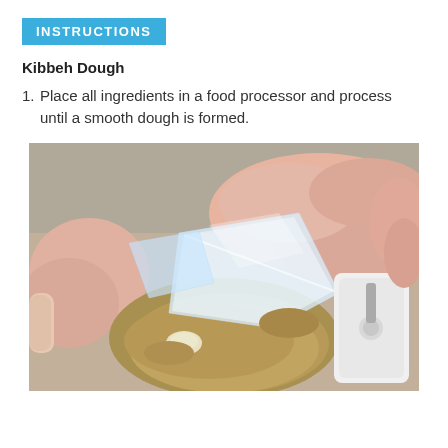INSTRUCTIONS
Kibbeh Dough
1. Place all ingredients in a food processor and process until a smooth dough is formed.
[Figure (photo): Close-up photo of raw meat and spices (ground cumin/spice powder) along with ice cubes and a food processor blade visible, ingredients being prepared in a food processor bowl.]